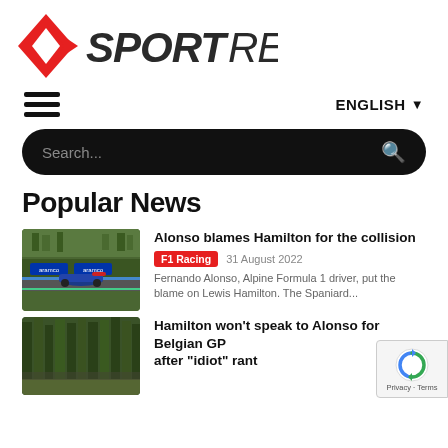[Figure (logo): SportReviews logo with red diamond/arrow icon and SPORT REVIEWS text in dark grey, italic style]
ENGLISH ▼
[Figure (other): Hamburger menu icon (three horizontal lines)]
Search...
Popular News
[Figure (photo): F1 racing cars on track, Aramco sponsorship banners visible]
Alonso blames Hamilton for the collision
F1 Racing   31 August 2022
Fernando Alonso, Alpine Formula 1 driver, put the blame on Lewis Hamilton. The Spaniard...
[Figure (photo): Forest/trees view from racing track, possibly Spa-Francorchamps]
Hamilton won't speak to Alonso for Belgian GP after "idiot" rant